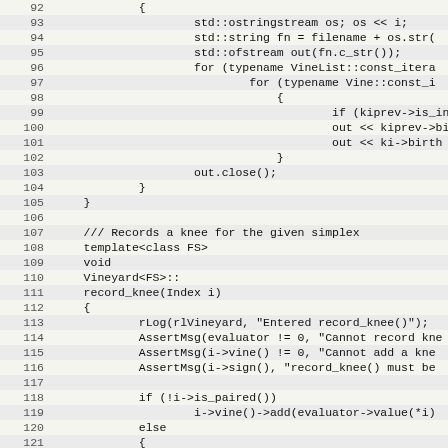[Figure (screenshot): Source code listing showing C++ code for a Vineyard template class, lines 92-124, with alternating light/dark row background, monospace font, line numbers on left.]